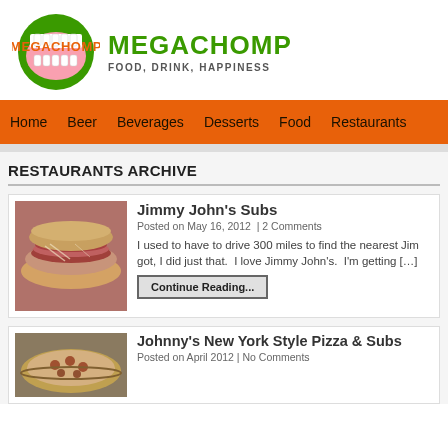[Figure (logo): MegaChomp logo: orange text 'MEGACHOMP' with a green chomping mouth circle graphic]
MEGACHOMP
FOOD, DRINK, HAPPINESS
Home | Beer | Beverages | Desserts | Food | Restaurants
RESTAURANTS ARCHIVE
[Figure (photo): Photo of a sub sandwich with cured meats and cheese]
Jimmy John's Subs
Posted on May 16, 2012  | 2 Comments
I used to have to drive 300 miles to find the nearest Jim got, I did just that.  I love Jimmy John's.  I'm getting […]
Continue Reading...
[Figure (photo): Photo of a pizza or food item in a pan]
Johnny's New York Style Pizza & Subs
Posted on April 2012 | No Comments